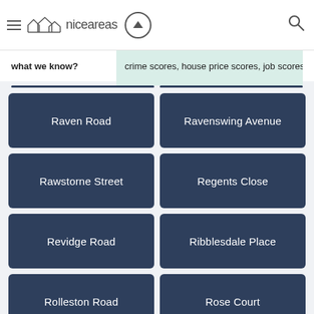niceareas
what we know? | crime scores, house price scores, job scores a
Raven Road
Ravenswing Avenue
Rawstorne Street
Regents Close
Revidge Road
Ribblesdale Place
Rolleston Road
Rose Court